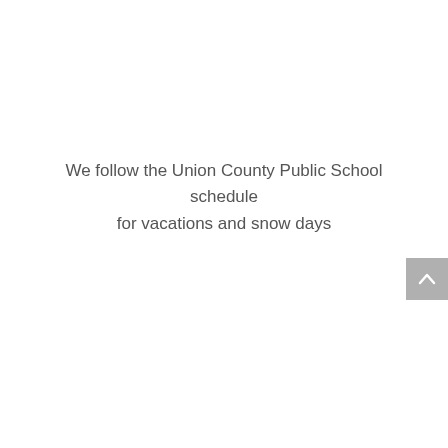We follow the Union County Public School schedule for vacations and snow days